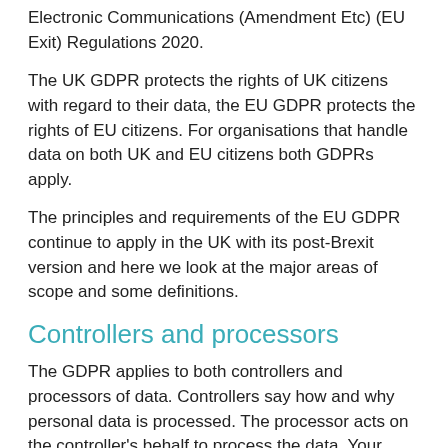Electronic Communications (Amendment Etc) (EU Exit) Regulations 2020.
The UK GDPR protects the rights of UK citizens with regard to their data, the EU GDPR protects the rights of EU citizens. For organisations that handle data on both UK and EU citizens both GDPRs apply.
The principles and requirements of the EU GDPR continue to apply in the UK with its post-Brexit version and here we look at the major areas of scope and some definitions.
Controllers and processors
The GDPR applies to both controllers and processors of data. Controllers say how and why personal data is processed. The processor acts on the controller's behalf to process the data. Your organisation may be a data processor, or a data controller, or both.
There are specific legal obligations on both controllers and processors: